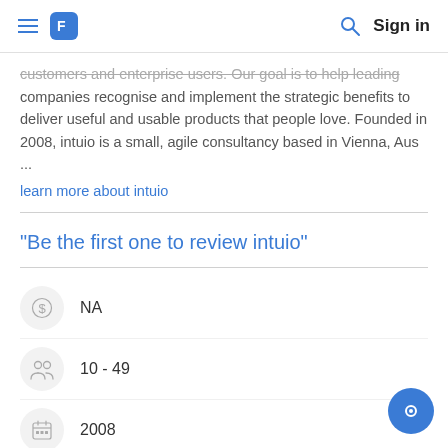Sign in
customers and enterprise users. Our goal is to help leading companies recognise and implement the strategic benefits to deliver useful and usable products that people love. Founded in 2008, intuio is a small, agile consultancy based in Vienna, Aus ...
learn more about intuio
"Be the first one to review intuio"
NA
10 - 49
2008
Vienna, Vienna